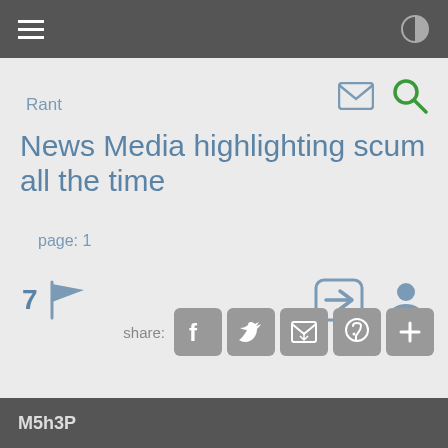≡  ◑
[Figure (screenshot): Email icon and search (magnifying glass) icon in green, top right navigation]
Rant
News Media highlighting scum all the time
page: 1
[Figure (infographic): 7 with flag icon on left; arrow-login and user profile icons on right]
[Figure (infographic): Share row with Facebook, Twitter, email, Pinterest, and plus buttons]
M5h3P